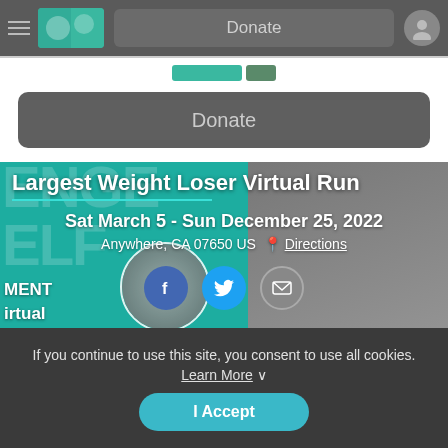[Figure (screenshot): Top navigation bar with hamburger menu, logo thumbnail, Donate button, and user avatar]
Donate
[Figure (screenshot): Secondary strip with teal banner element]
Donate
[Figure (photo): Event hero banner for Largest Weight Loser Virtual Run with teal background, text overlay, and photos of runners]
Largest Weight Loser Virtual Run
Sat March 5 - Sun December 25, 2022
Anywhere, CA 07650 US  Directions
If you continue to use this site, you consent to use all cookies. Learn More ∨
I Accept